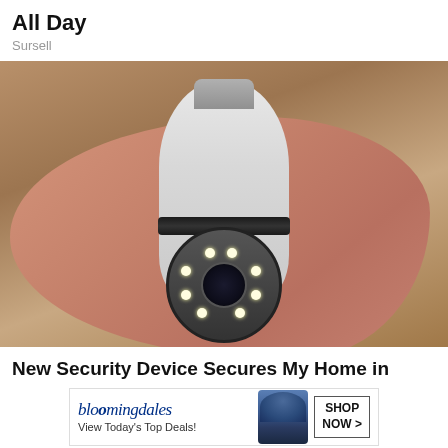All Day
Sursell
[Figure (photo): A hand holding a white lightbulb-shaped security camera device with a circular lens housing containing LED lights and a camera lens in the center, with a bulb screw cap at the top.]
New Security Device Secures My Home in Minutes
Kellini Stu
[Figure (other): Bloomingdale's advertisement banner showing the Bloomingdale's logo with text 'View Today's Top Deals!' alongside an image of a woman wearing a large hat, and a 'SHOP NOW >' button.]